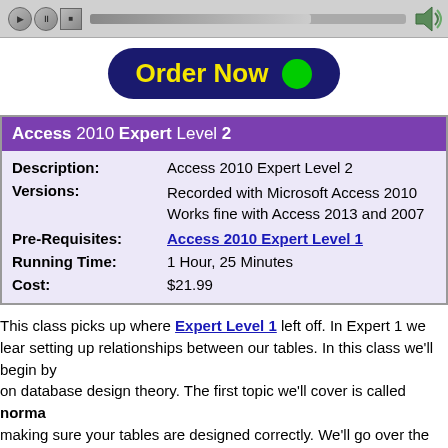[Figure (screenshot): Media player controls bar with play, pause, stop buttons, progress bar, and volume speaker icon]
[Figure (other): Order Now button — dark navy rounded rectangle with yellow bold text 'Order Now' and a green circle dot]
| Description: | Access 2010 Expert Level 2 |
| Versions: | Recorded with Microsoft Access 2010
Works fine with Access 2013 and 2007 |
| Pre-Requisites: | Access 2010 Expert Level 1 |
| Running Time: | 1 Hour, 25 Minutes |
| Cost: | $21.99 |
This class picks up where Expert Level 1 left off. In Expert 1 we learned setting up relationships between our tables. In this class we'll begin by on database design theory. The first topic we'll cover is called norma making sure your tables are designed correctly. We'll go over the first Plus, we'll talk about when it's prudent to ignore proper normalization
| ParentID | FN | LN |
| --- | --- | --- |